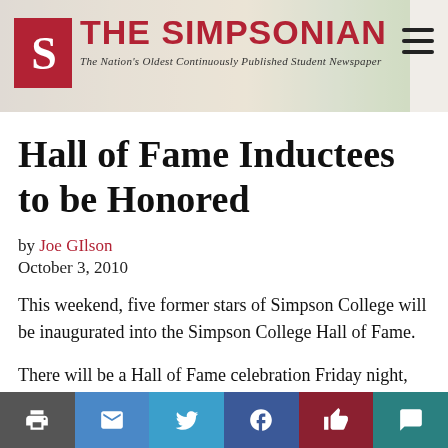[Figure (logo): The Simpsonian newspaper banner logo with red S icon and tagline 'The Nation's Oldest Continuously Published Student Newspaper']
Hall of Fame Inductees to be Honored
by Joe GIlson
October 3, 2010
This weekend, five former stars of Simpson College will be inaugurated into the Simpson College Hall of Fame.
There will be a Hall of Fame celebration Friday night, and a